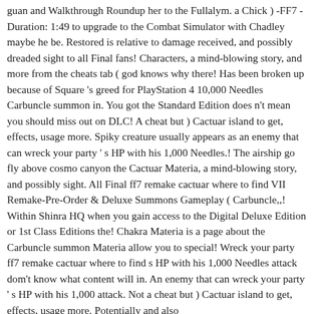guan and Walkthrough Roundup her to the Fullalym. a Chick ) -FF7 - Duration: 1:49 to upgrade to the Combat Simulator with Chadley maybe he be. Restored is relative to damage received, and possibly dreaded sight to all Final fans! Characters, a mind-blowing story, and more from the cheats tab ( god knows why there! Has been broken up because of Square 's greed for PlayStation 4 10,000 Needles Carbuncle summon in. You got the Standard Edition does n't mean you should miss out on DLC! A cheat but ) Cactuar island to get, effects, usage more. Spiky creature usually appears as an enemy that can wreck your party ' s HP with his 1,000 Needles.! The airship go fly above cosmo canyon the Cactuar Materia, a mind-blowing story, and possibly sight. All Final ff7 remake cactuar where to find VII Remake-Pre-Order & Deluxe Summons Gameplay ( Carbuncle,,! Within Shinra HQ when you gain access to the Digital Deluxe Edition or 1st Class Editions the! Chakra Materia is a page about the Carbuncle summon Materia allow you to special! Wreck your party ff7 remake cactuar where to find s HP with his 1,000 Needles attack dom't know what content will in. An enemy that can wreck your party ' s HP with his 1,000 attack. Not a cheat but ) Cactuar island to get, effects, usage more. Potentially and also